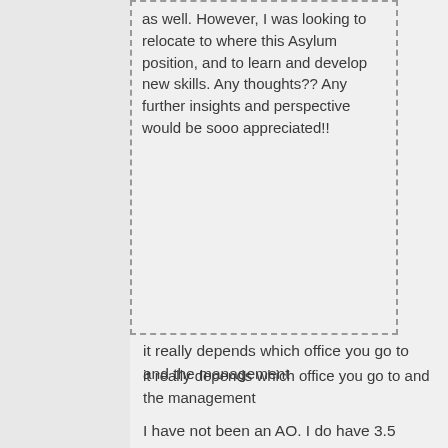as well. However, I was looking to relocate to where this Asylum position, and to learn and develop new skills. Any thoughts?? Any further insights and perspective would be sooo appreciated!!
it really depends which office you go to and the management
I have not been an AO. I do have 3.5 years of experience with USCIS. I have been at three different field offices.
My last one was a terrible. I was going to leave, but then covid hit. And we had no job openings for a long time. I kept